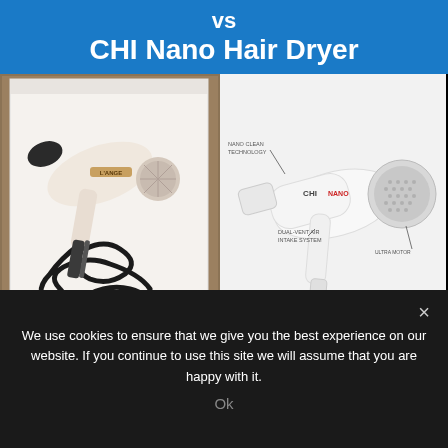vs CHI Nano Hair Dryer
[Figure (photo): Left: L'ANGE hair dryer unboxed in white box with black cord tangled underneath. Right: CHI Nano hair dryer product diagram on white/grey background with labels: NANO CLEAN TECHNOLOGY, CHI NANO, DUAL-VENT AIR INTAKE SYSTEM, ULTRA MOTOR.]
[Figure (photo): L'ANGE Triomphe hair dryer in light blue/white color on pink background with gold confetti, shown from the back/side angle.]
We use cookies to ensure that we give you the best experience on our website. If you continue to use this site we will assume that you are happy with it.
Ok